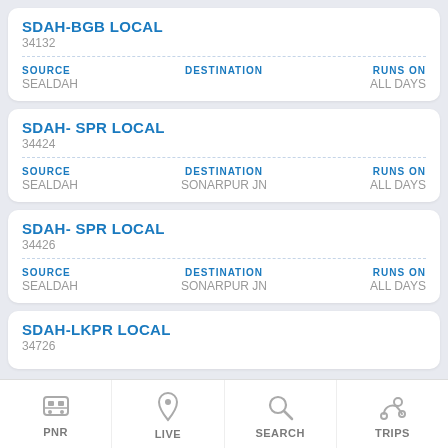SDAH-BGB LOCAL
34132
SOURCE: SEALDAH | DESTINATION | RUNS ON: ALL DAYS
SDAH- SPR LOCAL
34424
SOURCE: SEALDAH | DESTINATION: SONARPUR JN | RUNS ON: ALL DAYS
SDAH- SPR LOCAL
34426
SOURCE: SEALDAH | DESTINATION: SONARPUR JN | RUNS ON: ALL DAYS
SDAH-LKPR LOCAL
34726
SOURCE: SEALDAH | DESTINATION: LAKSHAKANTPUR | RUNS ON: ALL DAYS
PNR | LIVE | SEARCH | TRIPS